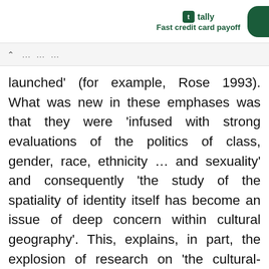tally Fast credit card payoff
launched' (for example, Rose 1993). What was new in these emphases was that they were 'infused with strong evaluations of the politics of class, gender, race, ethnicity … and sexuality' and consequently 'the study of the spatiality of identity itself has become an issue of deep concern within cultural geography'. This, explains, in part, the explosion of research on 'the cultural-geographic politics of sexuality, gender, race, and national identity' (Mitchell 2000: 61-2).